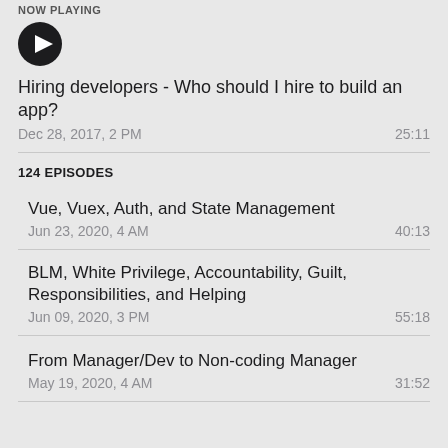NOW PLAYING
[Figure (other): Play button icon - dark circular button with white triangle/play arrow]
Hiring developers - Who should I hire to build an app?
Dec 28, 2017, 2 PM   25:11
124 EPISODES
Vue, Vuex, Auth, and State Management
Jun 23, 2020, 4 AM   40:13
BLM, White Privilege, Accountability, Guilt, Responsibilities, and Helping
Jun 09, 2020, 3 PM   55:18
From Manager/Dev to Non-coding Manager
May 19, 2020, 4 AM   31:52